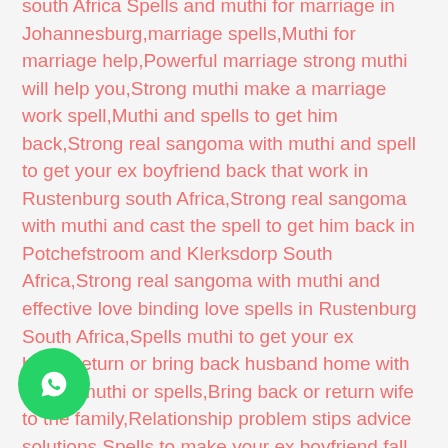south Africa Spells and muthi for marriage in Johannesburg,marriage spells,Muthi for marriage help,Powerful marriage strong muthi will help you,Strong muthi make a marriage work spell,Muthi and spells to get him back,Strong real sangoma with muthi and spell to get your ex boyfriend back that work in Rustenburg south Africa,Strong real sangoma with muthi and cast the spell to get him back in Potchefstroom and Klerksdorp South Africa,Strong real sangoma with muthi and effective love binding love spells in Rustenburg South Africa,Spells muthi to get your ex back,Return or bring back husband home with strong muthi or spells,Bring back or return wife to the family,Relationship problem stips advice solutions,Spells to make your ex boyfriend fall in love with you again in South Africa,Powerful traditional doctor muthi and spells to get your ex boyfriend back fast in Rustenburg Potchefstroom dorp South Africa,Strong muthi to bring back my lost l Muthi to make her love only me,Muthi to give you full control over your stubborn man,Muti to make him leave her for
[Figure (logo): WhatsApp button icon - green circle with white phone/chat icon]